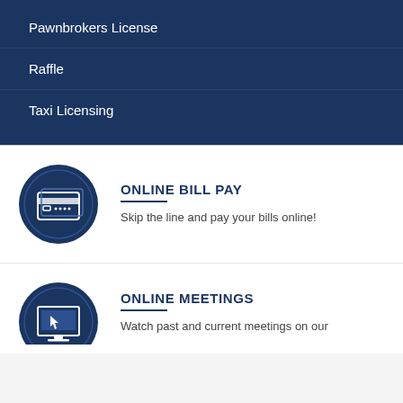Pawnbrokers License
Raffle
Taxi Licensing
ONLINE BILL PAY
Skip the line and pay your bills online!
ONLINE MEETINGS
Watch past and current meetings on our